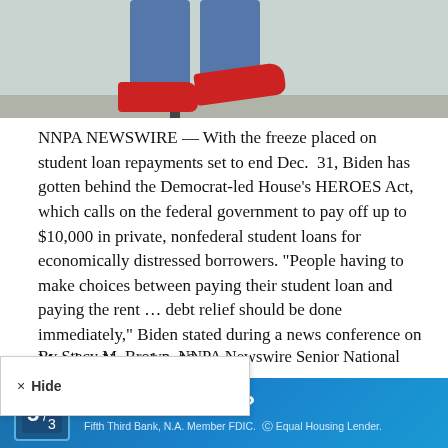[Figure (photo): Person jumping or sitting on a pole/structure outdoors, wearing blue jeans and red sneakers, ground visible below]
NNPA NEWSWIRE — With the freeze placed on student loan repayments set to end Dec. 31, Biden has gotten behind the Democrat-led House's HEROES Act, which calls on the federal government to pay off up to $10,000 in private, nonfederal student loans for economically distressed borrowers. “People having to make choices between paying their student loan and paying the rent … debt relief should be done immediately,” Biden stated during a news conference on Monday, November 16.
By Stacy M. Brown, NNPA Newswire Senior National Correspondent
[Figure (other): Fifth Third Bank advertisement banner: Buying a home? Fifth Third Bank, N.A. Member FDIC. Equal Housing Lender.]